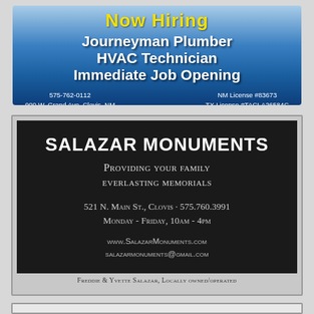[Figure (infographic): Now Hiring ad for Journeyman Plumber, HVAC Technician – Immediate Job Opening. Blue gradient background. Contact: 575-762-0112, 900 W. Grand Ave. Clovis, NM. NM License #83673, TX License #TACLA26584C.]
[Figure (infographic): Salazar Monuments ad. Dark background with marble-textured border. Providing your family everlasting memorials. 521 N. Main St., Clovis · 575.760.3991. Monday - Friday, 10am - 4pm. www.SalazarMonuments.com. salazarmonuments@gmail.com. Freddie & Yvette Salazar, Locally owned/operated.]